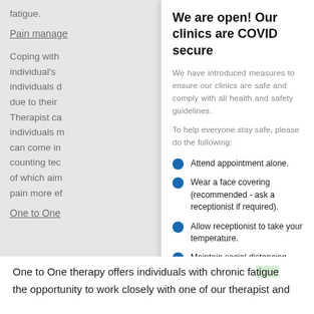fatigue.
Pain manage
Coping with individual's individuals d due to their Therapist ca individuals m can come in counting tec of which aim pain more ef
We are open! Our clinics are COVID secure
We have introduced measures to ensure our clinics are safe and comply with all health and safety guidelines.
To help everyone stay safe, please do the following:
Attend appointment alone.
Wear a face covering (recommended - ask a receptionist if required).
Allow receptionist to take your temperature.
Maintain social distancing.
Clean your hands.
Pay by contactless if possible.
One to One
One to One therapy offers individuals with chronic fatigue the opportunity to work closely with one of our therapist and